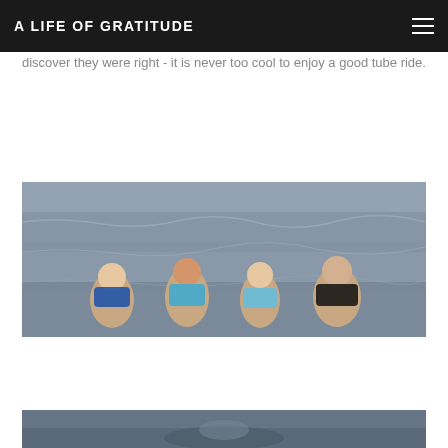A LIFE OF GRATITUDE
discover they were right - it is never too cool to enjoy a good tube ride.
[Figure (photo): Four children wearing life jackets riding on a tube on the water, smiling and laughing]
[Figure (photo): Partial view of another photo at the bottom of the page, appears to show people on water]